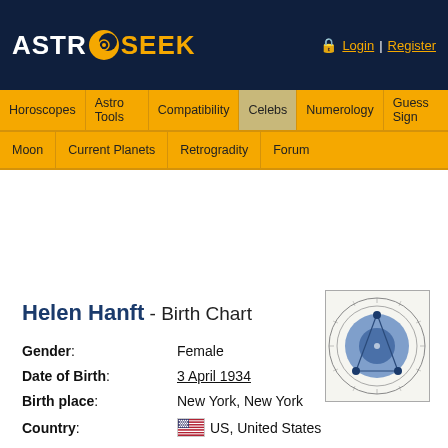[Figure (logo): AstroSeek logo with moon icon on dark navy background]
Login | Register
Horoscopes | Astro Tools | Compatibility | Celebs | Numerology | Guess Sign
Moon | Current Planets | Retrogradity | Forum
Helen Hanft - Birth Chart
[Figure (other): Astrological birth chart wheel showing blue planetary positions]
| Field | Value |
| --- | --- |
| Gender | Female |
| Date of Birth | 3 April 1934 |
| Birth place | New York, New York |
| Country | US, United States |